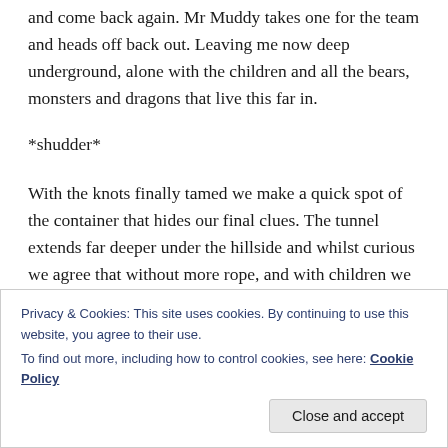and come back again. Mr Muddy takes one for the team and heads off back out. Leaving me now deep underground, alone with the children and all the bears, monsters and dragons that live this far in.
*shudder*
With the knots finally tamed we make a quick spot of the container that hides our final clues. The tunnel extends far deeper under the hillside and whilst curious we agree that without more rope, and with children we won't travel any further in – especially as there are
Privacy & Cookies: This site uses cookies. By continuing to use this website, you agree to their use.
To find out more, including how to control cookies, see here: Cookie Policy